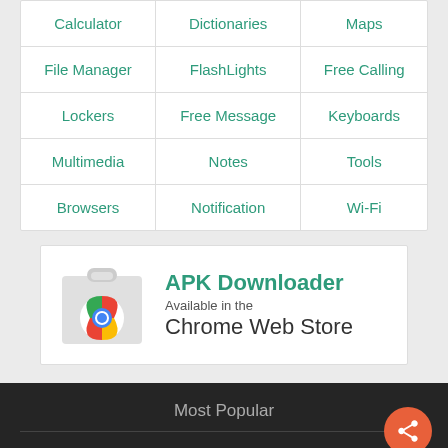| Calculator | Dictionaries | Maps |
| File Manager | FlashLights | Free Calling |
| Lockers | Free Message | Keyboards |
| Multimedia | Notes | Tools |
| Browsers | Notification | Wi-Fi |
[Figure (screenshot): APK Downloader banner with Chrome icon and Chrome Web Store text]
Most Popular
Whatsapp Messenger